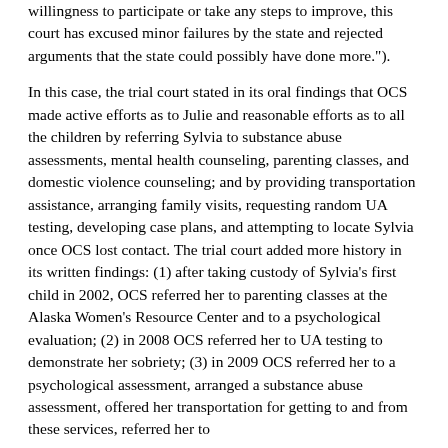provided and a parent has demonstrated a lack of willingness to participate or take any steps to improve, this court has excused minor failures by the state and rejected arguments that the state could possibly have done more.").
In this case, the trial court stated in its oral findings that OCS made active efforts as to Julie and reasonable efforts as to all the children by referring Sylvia to substance abuse assessments, mental health counseling, parenting classes, and domestic violence counseling; and by providing transportation assistance, arranging family visits, requesting random UA testing, developing case plans, and attempting to locate Sylvia once OCS lost contact. The trial court added more history in its written findings: (1) after taking custody of Sylvia's first child in 2002, OCS referred her to parenting classes at the Alaska Women's Resource Center and to a psychological evaluation; (2) in 2008 OCS referred her to UA testing to demonstrate her sobriety; (3) in 2009 OCS referred her to a psychological assessment, arranged a substance abuse assessment, offered her transportation for getting to and from these services, referred her to